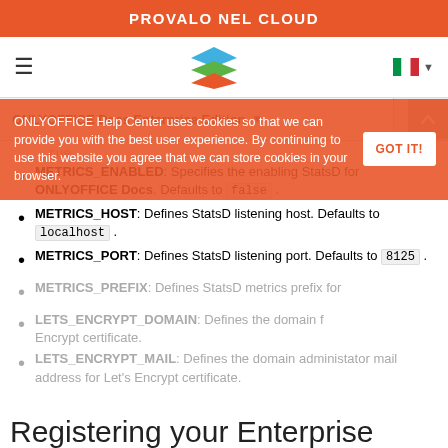PROVALO NEL CLOUD
[Figure (screenshot): Navigation bar with hamburger menu, ONLYOFFICE stacked layers logo, and Italian flag language selector]
| ONLYOFFICE Docs Enterprise Edition | Search |
| --- | --- |
rue .
METRICS_ENABLED: Specifies the enabling StatsD for ONLYOFFICE Docs. Defaults to false .
METRICS_HOST: Defines StatsD listening host. Defaults to localhost .
METRICS_PORT: Defines StatsD listening port. Defaults to 8125 .
METRICS_PREFIX: Defines StatsD metrics prefix for
LETS_ENCRYPT_DOMAIN: Defines the domain for Encrypt certificate.
LETS_ENCRYPT_MAIL: Defines the domain administator mail address for Let's Encrypt certificate.
ONLYOFFICE Help Center uses cookies so that we can provide you with the best user experience. By continuing to use this website you agree that we can store cookies in your browser.
Registering your Enterprise